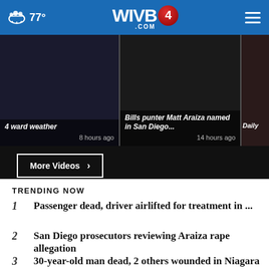77° WIVB4.COM
[Figure (screenshot): Video thumbnail strip showing partial thumbnails: '4 ward weather' (8 hours ago), 'Bills punter Matt Araiza named in San Diego...' (14 hours ago), and a partial third thumbnail. A 'More Videos ›' button is shown below.]
TRENDING NOW
1  Passenger dead, driver airlifted for treatment in ...
2  San Diego prosecutors reviewing Araiza rape allegation
3  30-year-old man dead, 2 others wounded in Niagara ...